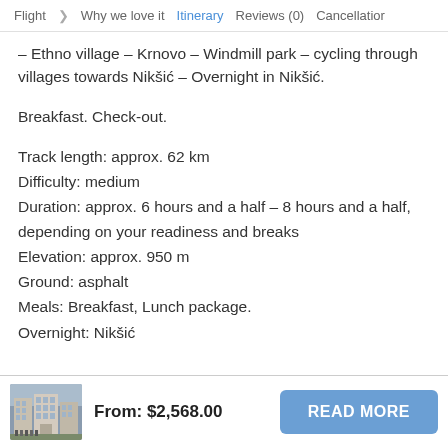Flight  ❯ Why we love it  Itinerary  Reviews (0)  Cancellation
– Ethno village – Krnovo – Windmill park – cycling through villages towards Nikšić – Overnight in Nikšić.
Breakfast. Check-out.
Track length: approx. 62 km
Difficulty: medium
Duration: approx. 6 hours and a half – 8 hours and a half, depending on your readiness and breaks
Elevation: approx. 950 m
Ground: asphalt
Meals: Breakfast, Lunch package.
Overnight: Nikšić
From: $2,568.00
READ MORE